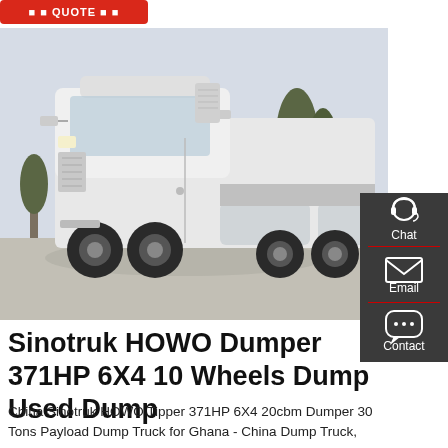[Figure (screenshot): Red button/label at top left, partially visible, with white bold text]
[Figure (photo): White Sinotruk HOWO semi-truck tractor parked in a lot, with trees and another red truck visible in background]
[Figure (infographic): Dark sidebar panel on right with Chat (headset icon), Email (envelope icon), and Contact (speech bubble icon) buttons, separated by red lines]
Sinotruk HOWO Dumper 371HP 6X4 10 Wheels Dump Used Dump
China Sinotruk HOWO Tipper 371HP 6X4 20cbm Dumper 30 Tons Payload Dump Truck for Ghana - China Dump Truck, Cargo Truck. New Used Sinotruck